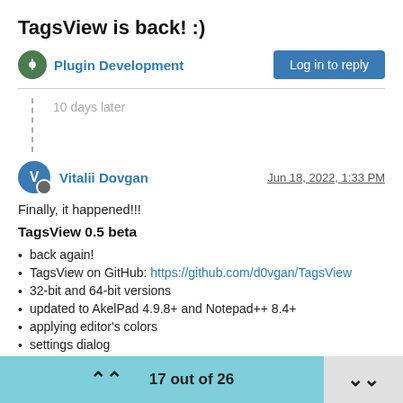TagsView is back! :)
Plugin Development
Log in to reply
10 days later
Vitalii Dovgan
Jun 18, 2022, 1:33 PM
Finally, it happened!!!
TagsView 0.5 beta
back again!
TagsView on GitHub: https://github.com/d0vgan/TagsView
32-bit and 64-bit versions
updated to AkelPad 4.9.8+ and Notepad++ 8.4+
applying editor's colors
settings dialog
context (popup) menu
ability to scan all files in a folder
17 out of 26